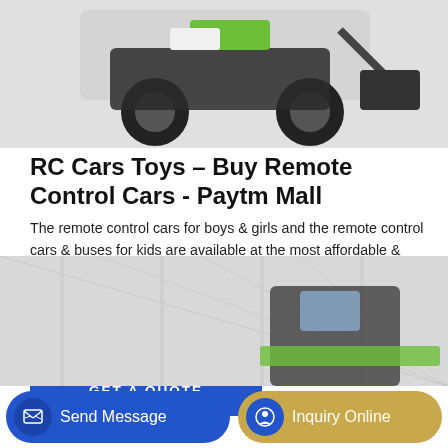[Figure (photo): Top portion of a green and black RC toy construction vehicle/bulldozer on a light gray background]
RC Cars Toys – Buy Remote Control Cars - Paytm Mall
The remote control cars for boys & girls and the remote control cars & buses for kids are available at the most affordable & reasonable prices. We give amazing deals and discounts on toys, stuff toys that resemble cartoon characters, cars & buses and more. Once you start shopping on our portal, you will never again shop anywhere else.
[Figure (screenshot): GET A QUOTE button in blue]
[Figure (photo): Bottom partial image of a large green industrial/construction vehicle inside a warehouse]
[Figure (screenshot): Bottom bar with Send Message and Inquiry Online buttons]